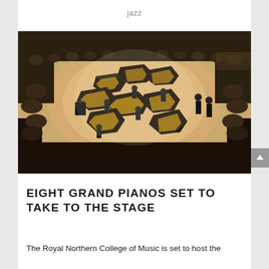jazz
[Figure (photo): Aerial view of a concert hall with eight grand pianos arranged in a circular pattern on stage, surrounded by an audience. Performers are seated at the pianos in a well-lit wooden-floored venue.]
EIGHT GRAND PIANOS SET TO TAKE TO THE STAGE
The Royal Northern College of Music is set to host the